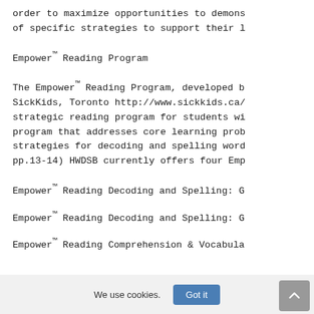order to maximize opportunities to demons of specific strategies to support their l
Empower™ Reading Program
The Empower™ Reading Program, developed b SickKids, Toronto http://www.sickkids.ca/ strategic reading program for students wi program that addresses core learning prob strategies for decoding and spelling word pp.13-14) HWDSB currently offers four Emp
Empower™ Reading Decoding and Spelling: G
Empower™ Reading Decoding and Spelling: G
Empower™ Reading Comprehension & Vocabula